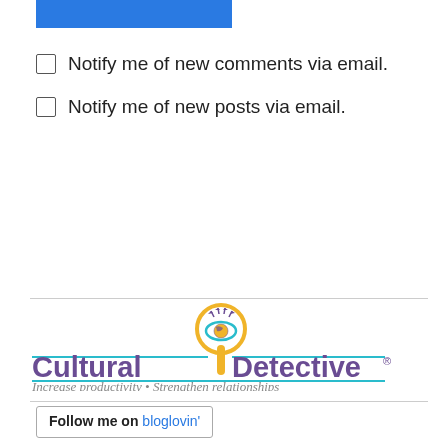[Figure (other): Blue rectangular bar at top of page]
Notify me of new comments via email.
Notify me of new posts via email.
[Figure (logo): Cultural Detective logo with magnifying glass eye graphic. Text: CULTURAL DETECTIVE® and tagline: Increase productivity • Strengthen relationships]
Follow me on bloglovin'